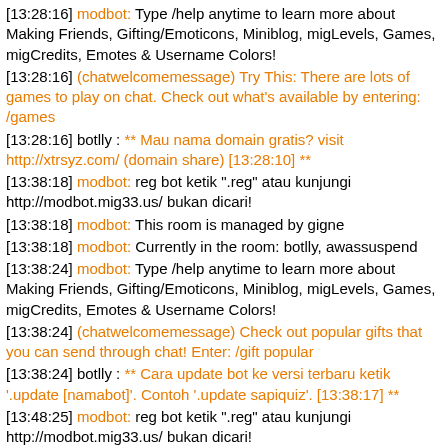[13:28:16] modbot: Type /help anytime to learn more about Making Friends, Gifting/Emoticons, Miniblog, migLevels, Games, migCredits, Emotes & Username Colors!
[13:28:16] (chatwelcomemessage) Try This: There are lots of games to play on chat. Check out what's available by entering: /games
[13:28:16] botlly : ** Mau nama domain gratis? visit http://xtrsyz.com/ (domain share) [13:28:10] **
[13:38:18] modbot: reg bot ketik ".reg" atau kunjungi http://modbot.mig33.us/ bukan dicari!
[13:38:18] modbot: This room is managed by gigne
[13:38:18] modbot: Currently in the room: botlly, awassuspend
[13:38:24] modbot: Type /help anytime to learn more about Making Friends, Gifting/Emoticons, Miniblog, migLevels, Games, migCredits, Emotes & Username Colors!
[13:38:24] (chatwelcomemessage) Check out popular gifts that you can send through chat! Enter: /gift popular
[13:38:24] botlly : ** Cara update bot ke versi terbaru ketik '.update [namabot]'. Contoh '.update sapiquiz'. [13:38:17] **
[13:48:25] modbot: reg bot ketik ".reg" atau kunjungi http://modbot.mig33.us/ bukan dicari!